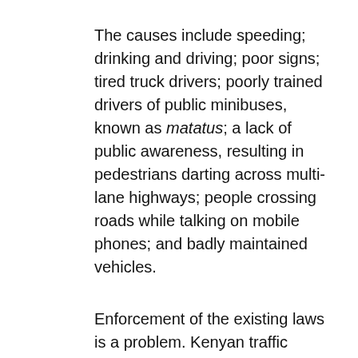The causes include speeding; drinking and driving; poor signs; tired truck drivers; poorly trained drivers of public minibuses, known as matatus; a lack of public awareness, resulting in pedestrians darting across multi-lane highways; people crossing roads while talking on mobile phones; and badly maintained vehicles.
Enforcement of the existing laws is a problem. Kenyan traffic police are notorious for taking bribes for minor offences rather than cracking down on drivers who brazenly flout traffic regulations.
President Mwai Kibaki, who was injured in a car accident while travelling back to Nairobi from